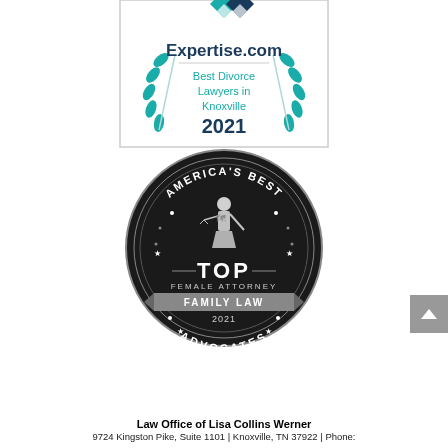[Figure (logo): Expertise.com award badge: Best Divorce Lawyers in Knoxville 2021 — teal laurel wreath with diamond logo on top, white/light background with border]
[Figure (logo): America's Best Advocates circular badge: Top Female Attorney, Family Law 2021 — dark circular badge with silver/white text and figure of Lady Justice]
Law Office of Lisa Collins Werner
9724 Kingston Pike, Suite 1101 | Knoxville, TN 37922 | Phone: